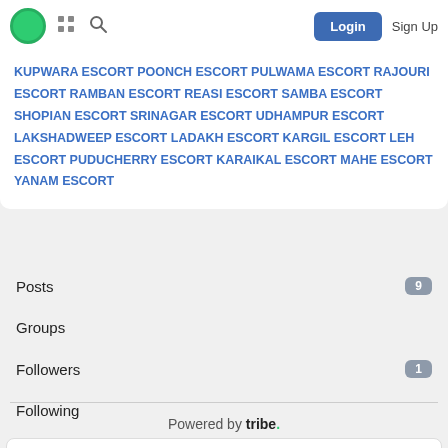Login  Sign Up
KUPWARA ESCORT POONCH ESCORT PULWAMA ESCORT RAJOURI ESCORT RAMBAN ESCORT REASI ESCORT SAMBA ESCORT SHOPIAN ESCORT SRINAGAR ESCORT UDHAMPUR ESCORT LAKSHADWEEP ESCORT LADAKH ESCORT KARGIL ESCORT LEH ESCORT PUDUCHERRY ESCORT KARAIKAL ESCORT MAHE ESCORT YANAM ESCORT
Posts  9
Groups
Followers  1
Following
Powered by tribe.